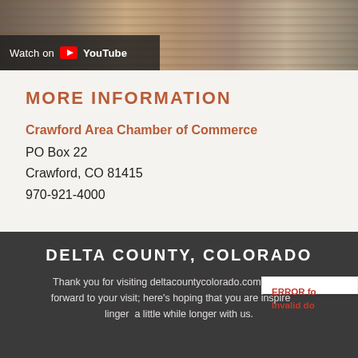[Figure (screenshot): Storefront photo with YouTube overlay showing 'Watch on YouTube']
MORE INFORMATION
Crawford Area Chamber of Commerce
PO Box 22
Crawford, CO 81415
970-921-4000
DELTA COUNTY, COLORADO
Thank you for visiting deltacountycolorado.com! We look forward to your visit; here's hoping that you are inspired to linger a little while longer with us.